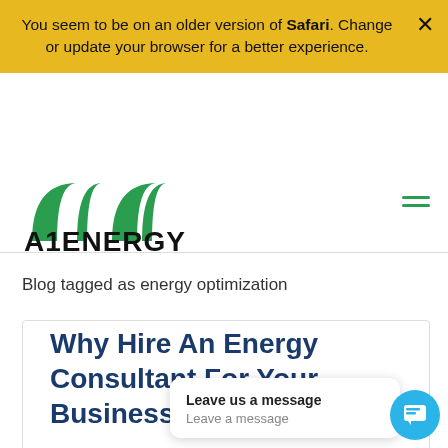You seem to be on an older version of Safari. Change or update your browser for a better experience.
[Figure (logo): A1 Energy logo with green arch shapes above the text A1ENERGY]
Blog tagged as energy optimization
Why Hire An Energy Consultant For Your Business
Leave us a message
Leave a message